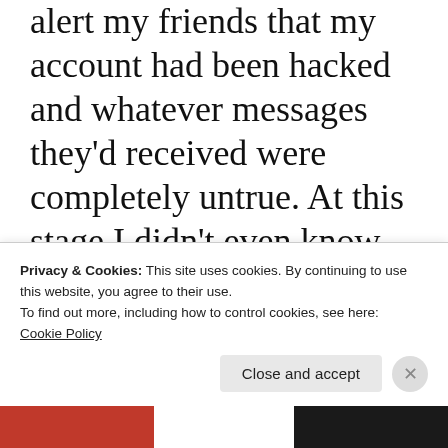alert my friends that my account had been hacked and whatever messages they'd received were completely untrue. At this stage I didn't even know the nature of the messages. I felt sick. I was being contacted by former colleagues, school friends, parishioners, people I'd not spoken to for years. What had they been sent on my behalf!? I raced upstairs
Privacy & Cookies: This site uses cookies. By continuing to use this website, you agree to their use.
To find out more, including how to control cookies, see here:
Cookie Policy
Close and accept